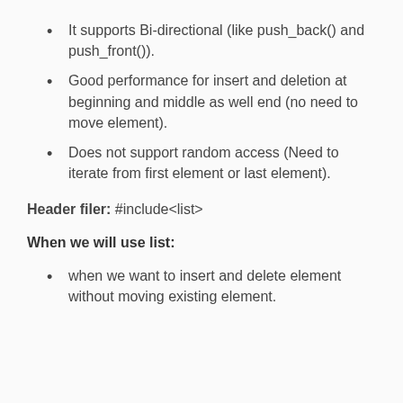It supports Bi-directional (like push_back() and push_front()).
Good performance for insert and deletion at beginning and middle as well end (no need to move element).
Does not support random access (Need to iterate from first element or last element).
Header filer: #include<list>
When we will use list:
when we want to insert and delete element without moving existing element.